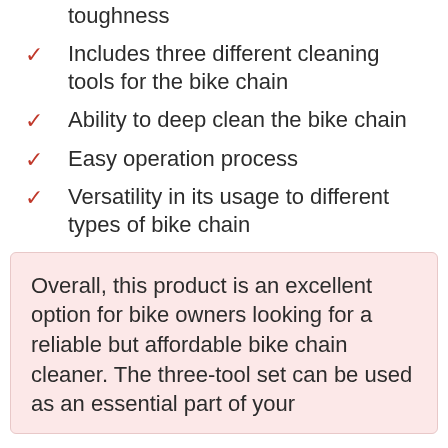toughness
Includes three different cleaning tools for the bike chain
Ability to deep clean the bike chain
Easy operation process
Versatility in its usage to different types of bike chain
Overall, this product is an excellent option for bike owners looking for a reliable but affordable bike chain cleaner. The three-tool set can be used as an essential part of your